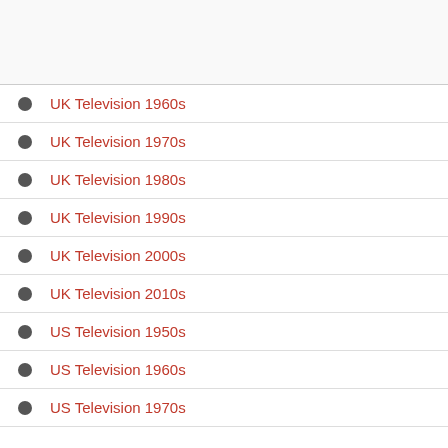[Figure (other): Top image/content area with light background, separated by horizontal rule]
UK Television 1960s
UK Television 1970s
UK Television 1980s
UK Television 1990s
UK Television 2000s
UK Television 2010s
US Television 1950s
US Television 1960s
US Television 1970s